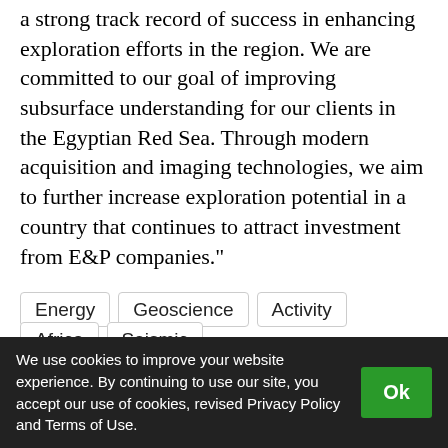a strong track record of success in enhancing exploration efforts in the region. We are committed to our goal of improving subsurface understanding for our clients in the Egyptian Red Sea. Through modern acquisition and imaging technologies, we aim to further increase exploration potential in a country that continues to attract investment from E&P companies."
Energy
Geoscience
Activity
Africa
Seismic
Trending Offshore News
We use cookies to improve your website experience. By continuing to use our site, you accept our use of cookies, revised Privacy Policy and Terms of Use.